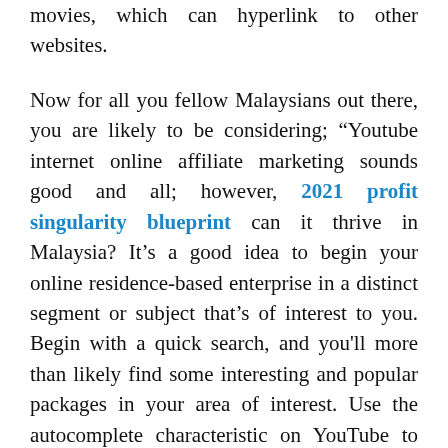movies, which can hyperlink to other websites.

Now for all you fellow Malaysians out there, you are likely to be considering; “Youtube internet online affiliate marketing sounds good and all; however, 2021 profit singularity blueprint can it thrive in Malaysia? It’s a good idea to begin your online residence-based enterprise in a distinct segment or subject that’s of interest to you. Begin with a quick search, and you'll more than likely find some interesting and popular packages in your area of interest. Use the autocomplete characteristic on YouTube to find out the most used search phrases. This makes it harder to drive your audience to the merchant websites, as it is perhaps flagged as ‘spammy practices’ by Youtube.